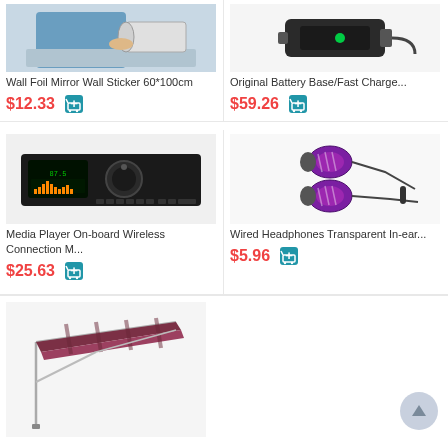[Figure (photo): Wall Foil Mirror Wall Sticker 60*100cm product image - person at laptop]
Wall Foil Mirror Wall Sticker 60*100cm
$12.33
[Figure (photo): Original Battery Base/Fast Charge... product image]
Original Battery Base/Fast Charge...
$59.26
[Figure (photo): Media Player On-board Wireless Connection M... product image - car stereo unit]
Media Player On-board Wireless Connection M...
$25.63
[Figure (photo): Wired Headphones Transparent In-ear... product image - purple earbuds]
Wired Headphones Transparent In-ear...
$5.96
[Figure (photo): Awning/canopy product image - maroon retractable awning]